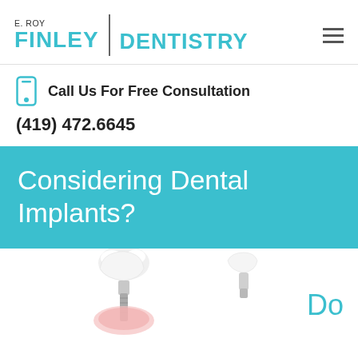E. ROY FINLEY DENTISTRY
Call Us For Free Consultation
(419) 472.6645
Considering Dental Implants?
[Figure (illustration): Three dental implant components shown at bottom of page — crown, abutment, and implant post pieces in white and metallic colors]
Do